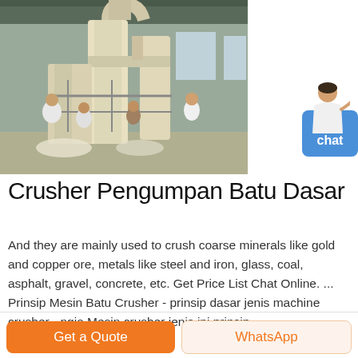[Figure (photo): Industrial crusher/grinding machine in factory setting with workers visible, large yellow/cream cylindrical equipment with pipes and ducts inside a warehouse.]
Crusher Pengumpan Batu Dasar
And they are mainly used to crush coarse minerals like gold and copper ore, metals like steel and iron, glass, coal, asphalt, gravel, concrete, etc. Get Price List Chat Online. ... Prinsip Mesin Batu Crusher - prinsip dasar jenis machine crusher - ngia Mesin crusher jenis ini prinsip ...
Get a Quote
WhatsApp